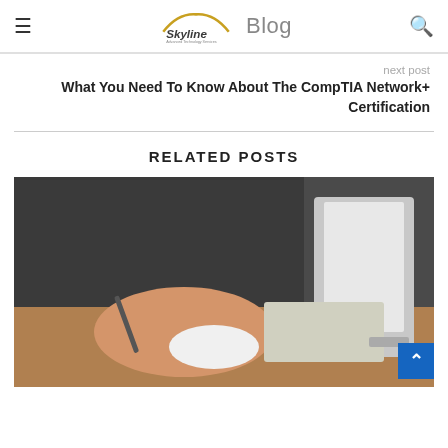Skyline Blog
next post
What You Need To Know About The CompTIA Network+ Certification
RELATED POSTS
[Figure (photo): Person using a computer mouse at a desk with a keyboard and monitor in the background]